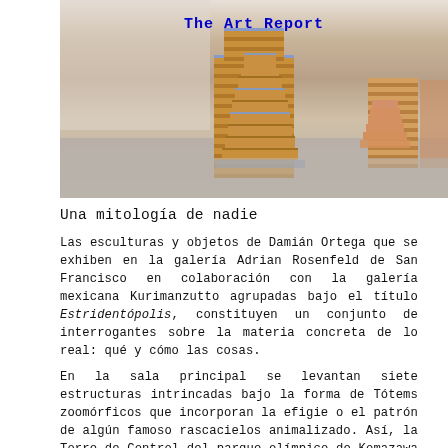[Figure (photo): Gallery installation photo showing stacked sculptural totems made of layered brick-like materials on a concrete floor, with 'The Art Report' watermark overlaid in blue text]
Una mitología de nadie
Las esculturas y objetos de Damián Ortega que se exhiben en la galería Adrian Rosenfeld de San Francisco en colaboración con la galería mexicana Kurimanzutto agrupadas bajo el título Estridentópolis, constituyen un conjunto de interrogantes sobre la materia concreta de lo real: qué y cómo las cosas.
En la sala principal se levantan siete estructuras intrincadas bajo la forma de Tótems zoomórficos que incorporan la efigie o el patrón de algún famoso rascacielos animalizado. Así, la Torre de Control del parque olímpico de Komazawa aparece con cabeza de perro, semblante sacerdotal negro y brazos tensos como la caricaturesca plegaria del férvido Cornholio. Las torres de Bertrand Goldberg en Marina City —Wilco Towers— se